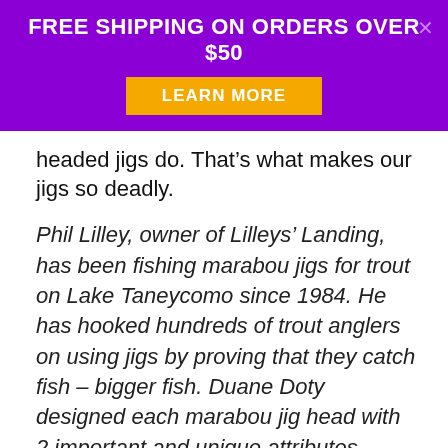FREE SHIPPING ON ORDERS OVER $50
LEARN MORE
headed jigs do. That’s what makes our jigs so deadly.
Phil Lilley, owner of Lilleys’ Landing, has been fishing marabou jigs for trout on Lake Taneycomo since 1984. He has hooked hundreds of trout anglers on using jigs by proving that they catch fish – bigger fish. Duane Doty designed each marabou jig head with 2 important and unique attributes. First, an uneven, slanted head for a wild sinking action. Also, a beveled collar with tying groove next to the head for ingenious tying ease. They’re also great for catching pan fish, bass, crappie, and walleye.